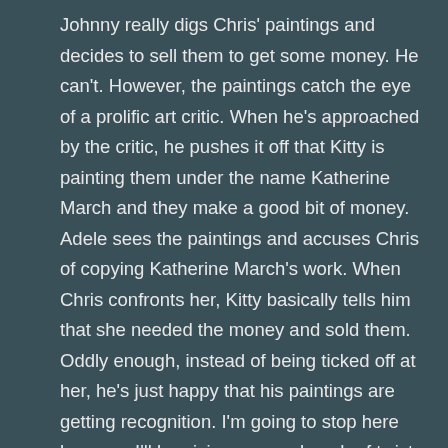Johnny really digs Chris' paintings and decides to sell them to get some money. He can't. However, the paintings catch the eye of a prolific art critic. When he's approached by the critic, he pushes it off that Kitty is painting them under the name Katherine March and they make a good bit of money. Adele sees the paintings and accuses Chris of copying Katherine March's work. When Chris confronts her, Kitty basically tells him that she needed the money and sold them. Oddly enough, instead of being ticked off at her, he's just happy that his paintings are getting recognition. I'm going to stop here because I'll be giving away a bunch of twists and things you may not see coming.